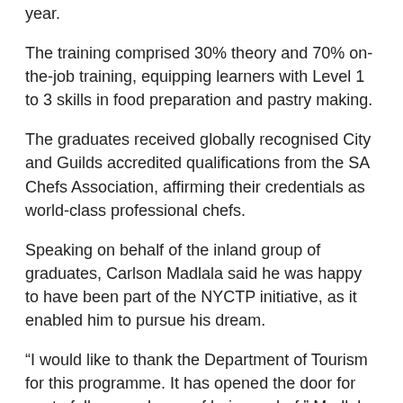year.
The training comprised 30% theory and 70% on-the-job training, equipping learners with Level 1 to 3 skills in food preparation and pastry making.
The graduates received globally recognised City and Guilds accredited qualifications from the SA Chefs Association, affirming their credentials as world-class professional chefs.
Speaking on behalf of the inland group of graduates, Carlson Madlala said he was happy to have been part of the NYCTP initiative, as it enabled him to pursue his dream.
“I would like to thank the Department of Tourism for this programme. It has opened the door for me to follow my dream of being a chef,” Madlala said.
The NYCTP graduation took place as the country prepares to commemorate National Reconciliation Day on 16 December 2019. The day will be observed under the theme: “The Year of